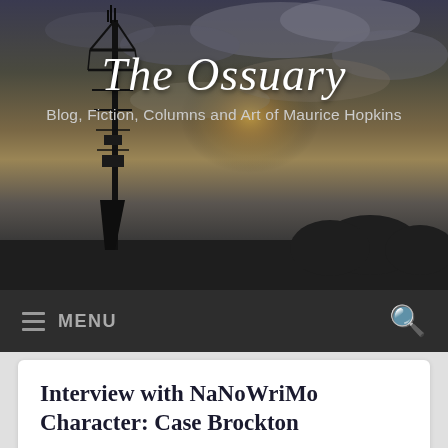[Figure (photo): Dark twilight sky with clouds and a silhouetted communications tower on the left; warm glow near horizon center-right. Site header background image for 'The Ossuary' blog.]
The Ossuary
Blog, Fiction, Columns and Art of Maurice Hopkins
MENU
Interview with NaNoWriMo Character: Case Brockton
I'm waiting inside one of the many dockside bars for almost an hour before  see Case 'Brock' Brockton stoop into the small confines of